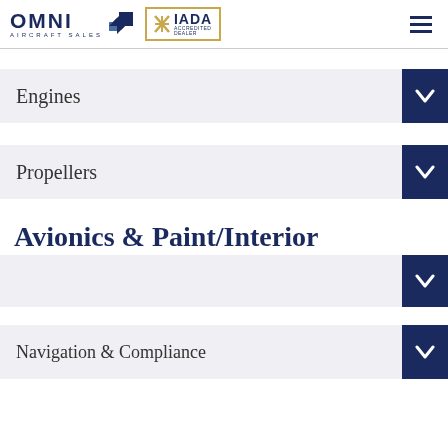OMNI AIRCRAFT SALES | IADA ACCREDITED DEALER
Engines
Propellers
Avionics & Paint/Interior
Navigation & Compliance